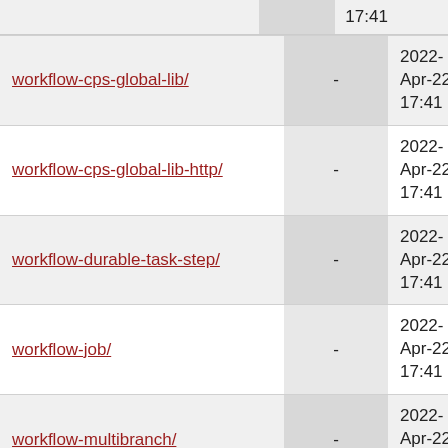| Name | Size | Last Modified |
| --- | --- | --- |
| workflow-cps-global-lib/ | - | 2022-Apr-22 17:41 |
| workflow-cps-global-lib-http/ | - | 2022-Apr-22 17:41 |
| workflow-durable-task-step/ | - | 2022-Apr-22 17:41 |
| workflow-job/ | - | 2022-Apr-22 17:41 |
| workflow-multibranch/ | - | 2022-Apr-22 17:41 |
| workflow-remote-loader/ | - | 2022-Apr-22 17:41 |
| workflow-scm-step/ | - | 2022-Apr-22 17:41 |